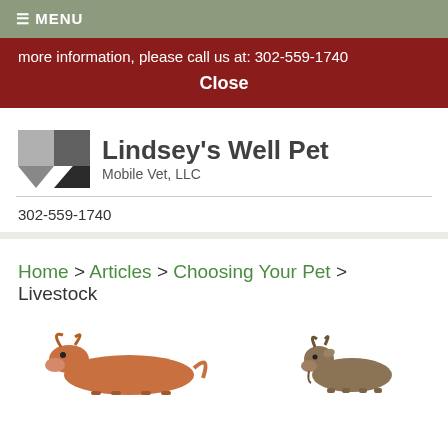≡ MENU
more information, please call us at: 302-559-1740
Close
[Figure (logo): Lindsey's Well Pet Mobile Vet, LLC logo with geometric triangle/arrow graphic in gray tones]
302-559-1740
Home > Articles > Choosing Your Pet > Livestock
[Figure (photo): Partial photo of two livestock animals: a brown cow with horns on the left and a goat on the right, cropped at the bottom of the page]